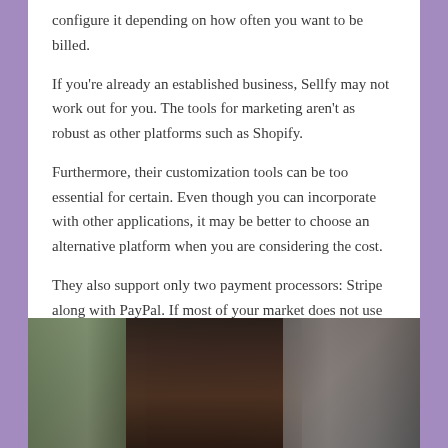configure it depending on how often you want to be billed.
If you're already an established business, Sellfy may not work out for you. The tools for marketing aren't as robust as other platforms such as Shopify.
Furthermore, their customization tools can be too essential for certain. Even though you can incorporate with other applications, it may be better to choose an alternative platform when you are considering the cost.
They also support only two payment processors: Stripe along with PayPal. If most of your market does not use these, it might be hard for them to purchase from you.
[Figure (photo): A person wearing a dark maroon/brown jacket, standing indoors, with a window on the left and photography equipment on the right side of the image.]